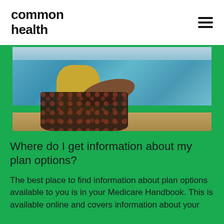common health
[Figure (photo): Person sitting on a beach near the ocean wearing a yellow shirt and patterned pants, viewed from the side/back]
Where do I get information about my plan options?
The best place to find information about plan options available to you is in your Medicare Handbook. This is available online and covers information about your